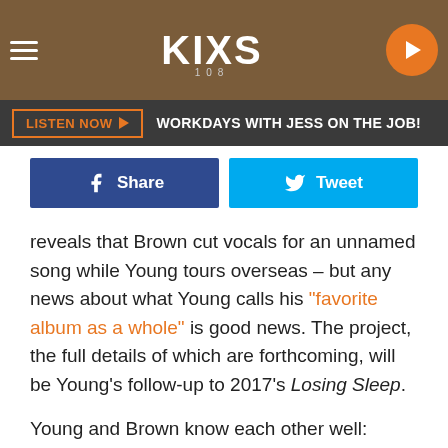[Figure (screenshot): Website header with hamburger menu, KIXS radio station logo, and orange play button on brown textured background]
[Figure (infographic): Dark gray listen now bar with orange bordered LISTEN NOW button and text WORKDAYS WITH JESS ON THE JOB!]
[Figure (infographic): Social share buttons: blue Facebook Share button and light blue Twitter Tweet button]
reveals that Brown cut vocals for an unnamed song while Young tours overseas – but any news about what Young calls his "favorite album as a whole" is good news. The project, the full details of which are forthcoming, will be Young's follow-up to 2017's Losing Sleep.
Young and Brown know each other well: They've collaborated before, on Brown's 2016 track "Setting the Night on Fire," and joined forces on Young's 2018 Losing Sleep World Tour. Young was even a guest at Brown's Oct. 12, 2018 wedding